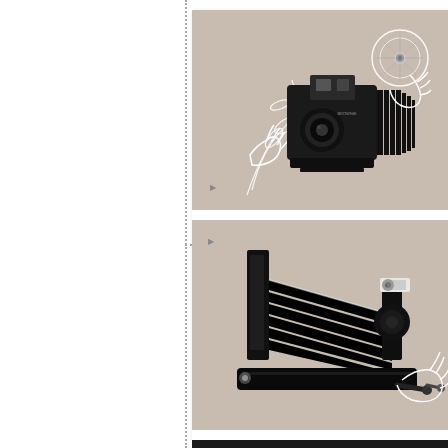[Figure (illustration): Vintage box camera (Brownie-style) with a flash bulb disc, held by illustrated hands, on a warm gray/taupe background. Black and white graphic illustration style with white line-art hands and floral elements.]
[Figure (illustration): Vintage folding bellows camera lying on its side with a hand reaching in from the right to operate it, on a warm gray/taupe background. Black graphic illustration style with white line-art hand.]